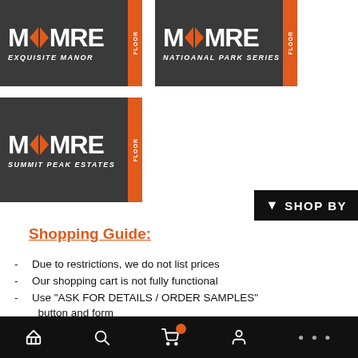[Figure (logo): MAMRE FLOOR - Exquisite Manor logo on dark background]
[Figure (logo): MAMRE FLOOR - National Park Series logo on dark background]
[Figure (logo): MAMRE FLOOR - Summit Peak Estates logo on dark background]
[Figure (screenshot): SHOP BY button with filter icon on black background]
Shopping Guide:
Due to restrictions, we do not list prices
Our shopping cart is not fully functional
Use "ASK FOR DETAILS / ORDER SAMPLES" button and form
Receive detailed quote furnishing some info
We do not share your info, or send junk mail
Call 949-453-3300 Ext. 203 to get live quotes during business hours
Navigation bar with home, search, cart, account, more icons